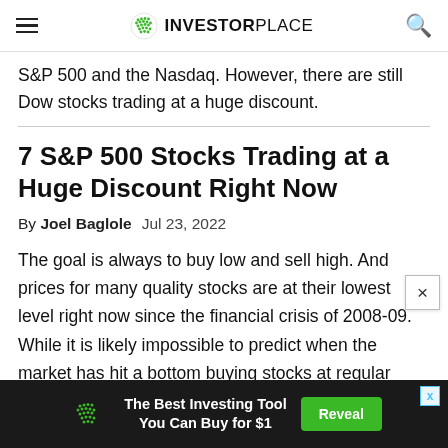INVESTORPLACE
S&P 500 and the Nasdaq. However, there are still Dow stocks trading at a huge discount.
7 S&P 500 Stocks Trading at a Huge Discount Right Now
By Joel Baglole   Jul 23, 2022
The goal is always to buy low and sell high. And prices for many quality stocks are at their lowest level right now since the financial crisis of 2008-09. While it is likely impossible to predict when the market has hit a bottom buying stocks at regular intervals as prices steadily
[Figure (infographic): Advertisement banner: green dot logo, text 'The Best Investing Tool You Can Buy for $1', green Reveal button]